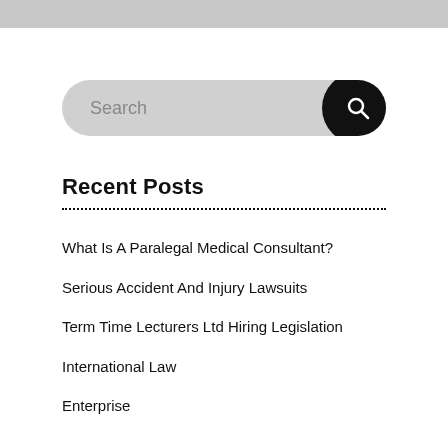[Figure (other): Search bar with grey input field and black circular search button with magnifying glass icon]
Recent Posts
What Is A Paralegal Medical Consultant?
Serious Accident And Injury Lawsuits
Term Time Lecturers Ltd Hiring Legislation
International Law
Enterprise
Archives